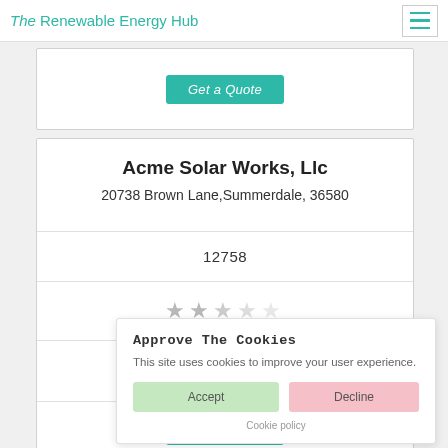The Renewable Energy Hub
[Figure (screenshot): Get a Quote button (teal/green) in upper card]
Acme Solar Works, Llc
20738 Brown Lane,Summerdale, 36580
12758
[Figure (other): Star rating display showing approximately 2 out of 5 stars]
[Figure (screenshot): Cookie consent popup: Approve The Cookies - This site uses cookies to improve your user experience. Accept and Decline buttons. Cookie policy link.]
[Figure (screenshot): Get a Quote button (teal/green) in lower card]